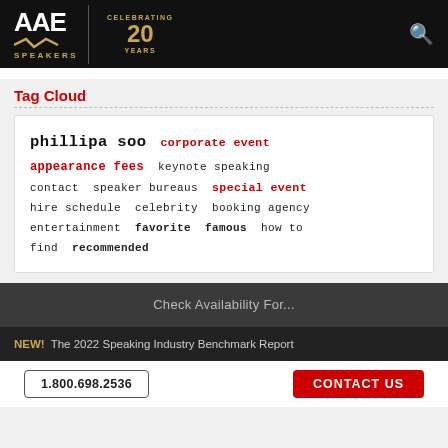AAE SPEAKERS — Celebrating 20 Years
Tag Cloud
phillipa soo  corporate event  appearance fees  keynote speaking  contact  speaker bureaus  special event  hire schedule  celebrity  booking agency  entertainment  favorite  famous  how to find  recommended
Check Availability For...
NEW! The 2022 Speaking Industry Benchmark Report
1.800.698.2536   CONTACT US